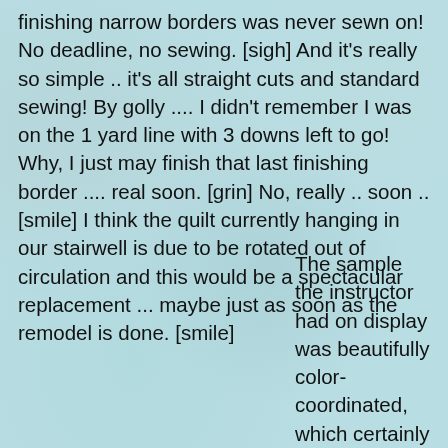finishing narrow borders was never sewn on! No deadline, no sewing. [sigh] And it's really so simple .. it's all straight cuts and standard sewing! By golly .... I didn't remember I was on the 1 yard line with 3 downs left to go! Why, I just may finish that last finishing border .... real soon. [grin] No, really .. soon .. [smile] I think the quilt currently hanging in our stairwell is due to be rotated out of circulation and this would be a spectacular replacement ... maybe just as soon as the remodel is done. [smile]
The sample the instructor had on display was beautifully color-coordinated, which certainly goes a long way in attracting your interest. However, I was in one